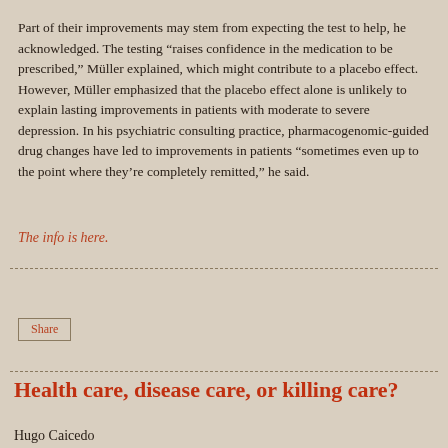Part of their improvements may stem from expecting the test to help, he acknowledged. The testing “raises confidence in the medication to be prescribed,” Müller explained, which might contribute to a placebo effect. However, Müller emphasized that the placebo effect alone is unlikely to explain lasting improvements in patients with moderate to severe depression. In his psychiatric consulting practice, pharmacogenomic-guided drug changes have led to improvements in patients “sometimes even up to the point where they’re completely remitted,” he said.
The info is here.
Share
Health care, disease care, or killing care?
Hugo Caicedo